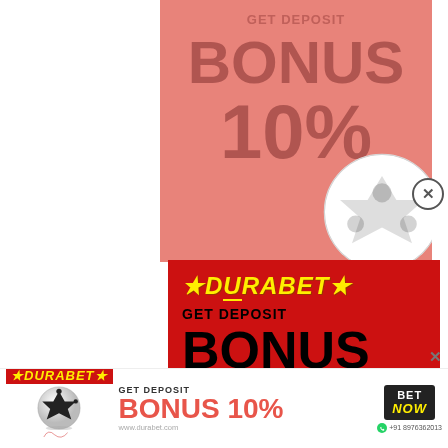[Figure (infographic): Background salmon/pink Durabet deposit bonus ad showing BONUS 10% text in large letters with faded soccer ball]
[Figure (infographic): Main red Durabet popup ad with yellow logo, GET DEPOSIT BONUS 10% text, BET NOW button, soccer ball, phone number +91 8976362013]
Ganguly ... batsman ... best team h... at its best, th... played at its b... ally take th... s to make b... m as Virat Kohli. But sometimes he goes unnoticed.
[Figure (infographic): Bottom banner Durabet ad with logo, soccer ball, GET DEPOSIT BONUS 10% text, BET NOW button and phone number +91 8976362013, website www.durabet.com]